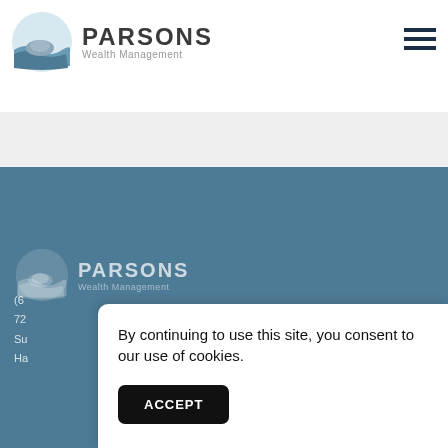[Figure (logo): Parsons Wealth Management logo with mountain/wave icon, company name PARSONS in bold dark grey and subtitle Wealth Management in grey]
[Figure (other): Hamburger menu icon (three horizontal dark navy lines) in top right corner]
[Figure (logo): Parsons Wealth Management logo repeated in footer section on teal-blue background, semi-transparent white version]
(6...
72...
Su...
Ha...
By continuing to use this site, you consent to our use of cookies.
ACCEPT